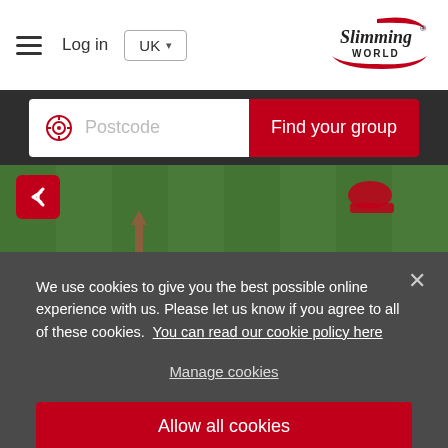Log in | UK | Slimming World
[Figure (screenshot): Slimming World website header with hamburger menu, Log in button, UK dropdown, and Slimming World logo]
[Figure (screenshot): Postcode search bar with target icon and red Find your group button on dark background]
[Figure (photo): Grass background image with red shoe visible and red back button in top-left]
We use cookies to give you the best possible online experience with us. Please let us know if you agree to all of these cookies. You can read our cookie policy here
Manage cookies
Allow all cookies